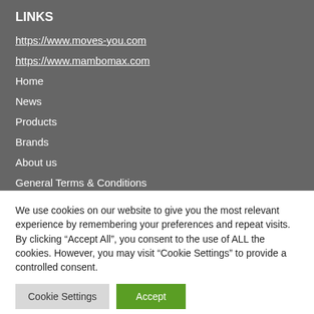LINKS
https://www.moves-you.com
https://www.mambomax.com
Home
News
Products
Brands
About us
General Terms & Conditions
We use cookies on our website to give you the most relevant experience by remembering your preferences and repeat visits. By clicking “Accept All”, you consent to the use of ALL the cookies. However, you may visit “Cookie Settings” to provide a controlled consent.
Cookie Settings | Accept